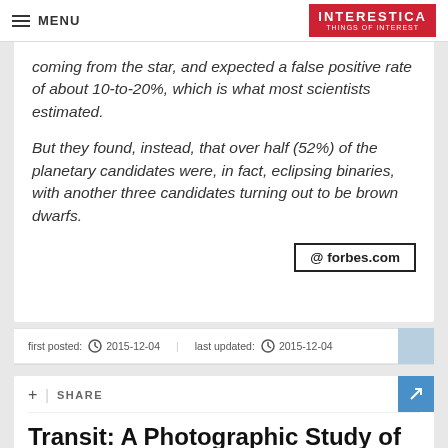MENU | INTERESTICA THINGS OF INTEREST
coming from the star, and expected a false positive rate of about 10-to-20%, which is what most scientists estimated.
But they found, instead, that over half (52%) of the planetary candidates were, in fact, eclipsing binaries, with another three candidates turning out to be brown dwarfs.
@ forbes.com
first posted: 2015-12-04   last updated: 2015-12-04
+ | SHARE
Transit: A Photographic Study of The Way Lives Intersect Running